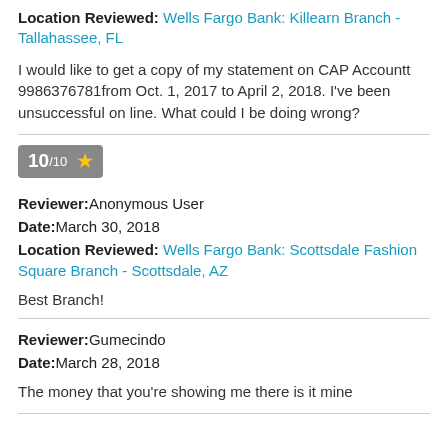Location Reviewed: Wells Fargo Bank: Killearn Branch - Tallahassee, FL
I would like to get a copy of my statement on CAP Accountt 9986376781from Oct. 1, 2017 to April 2, 2018. I've been unsuccessful on line. What could I be doing wrong?
[Figure (other): Rating badge showing 10/10 with a gold star]
Reviewer: Anonymous User
Date: March 30, 2018
Location Reviewed: Wells Fargo Bank: Scottsdale Fashion Square Branch - Scottsdale, AZ
Best Branch!
Reviewer: Gumecindo
Date: March 28, 2018
The money that you're showing me there is it mine